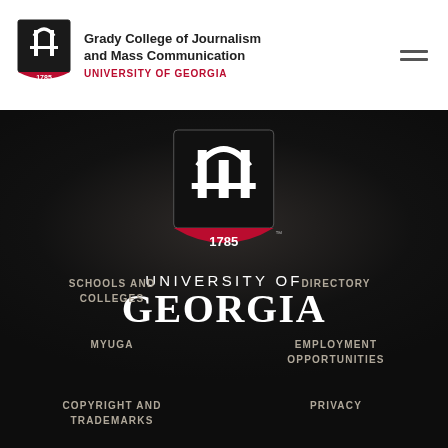[Figure (logo): Grady College of Journalism and Mass Communication / University of Georgia logo in header]
Grady College of Journalism and Mass Communication
UNIVERSITY OF GEORGIA
[Figure (logo): University of Georgia shield logo (1785) on dark background with 'UNIVERSITY OF GEORGIA' text]
SCHOOLS AND COLLEGES
DIRECTORY
MYUGA
EMPLOYMENT OPPORTUNITIES
COPYRIGHT AND TRADEMARKS
PRIVACY